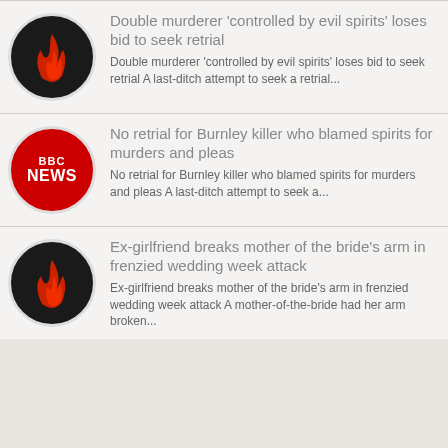[Figure (logo): Dark circle logo with red flame icon]
Double murderer ‘controlled by evil spirits’ loses bid to seek retrial
Double murderer ‘controlled by evil spirits’ loses bid to seek retrial A last-ditch attempt to seek a retrial...
[Figure (logo): BBC NEWS red circle logo]
No retrial for Burnley killer who blamed spirits for murders and pleas
No retrial for Burnley killer who blamed spirits for murders and pleas A last-ditch attempt to seek a...
[Figure (logo): Dark circle logo with red flame icon]
Ex-girlfriend breaks mother of the bride’s arm in frenzied wedding week attack
Ex-girlfriend breaks mother of the bride’s arm in frenzied wedding week attack A mother-of-the-bride had her arm broken...